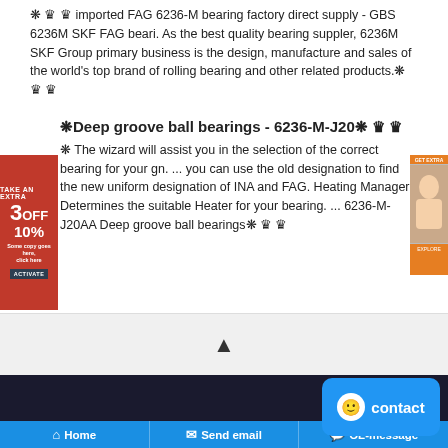❋ ♛ ♛ imported FAG 6236-M bearing factory direct supply - GBS 6236M SKF FAG beari. As the best quality bearing suppler, 6236M SKF Group primary business is the design, manufacture and sales of the world's top brand of rolling bearing and other related products.❋ ♛ ♛
❋Deep groove ball bearings - 6236-M-J20❋ ♛ ♛
❋ The wizard will assist you in the selection of the correct bearing for your gn. ... you can use the old designation to find the new uniform designation of INA and FAG. Heating Manager: Determines the suitable Heater for your bearing. ... 6236-M-J20AA Deep groove ball bearings❋ ♛ ♛
[Figure (other): Red advertisement banner on left: TAKE AN EXTRA 3OFF 10% with small text and button]
[Figure (other): Orange advertisement banner on right with person photo and GET EXTRA button]
▲ (caret/chevron up symbol in gray divider area)
GBS Bearing CO. LTD.
[Figure (other): Blue contact button with smiley face icon and 'contact' label]
🏠 Home   ✉ Send email   💬 OL-message